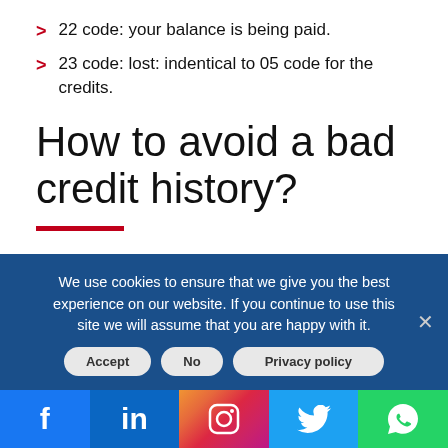22 code: your balance is being paid.
23 code: lost: indentical to 05 code for the credits.
How to avoid a bad credit history?
There are many different reasons you may have a bad credit history which can make difficult for you to borrow money when you need to. There are simple things you can do to keep your credit clean:
We use cookies to ensure that we give you the best experience on our website. If you continue to use this site we will assume that you are happy with it.